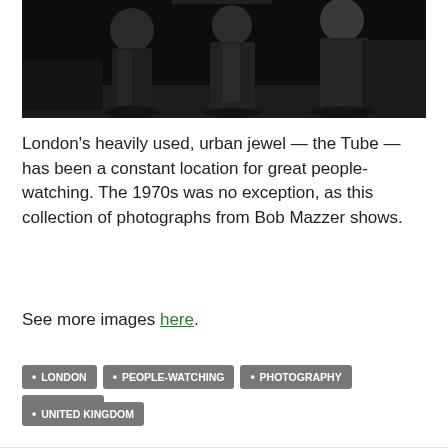[Figure (photo): Black and white photograph showing people on the London Tube in the 1970s, men in suits standing in a subway car or station]
London's heavily used, urban jewel — the Tube — has been a constant location for great people-watching. The 1970s was no exception, as this collection of photographs from Bob Mazzer shows.
See more images here.
LONDON
PEOPLE-WATCHING
PHOTOGRAPHY
THE TUBE
UNITED KINGDOM